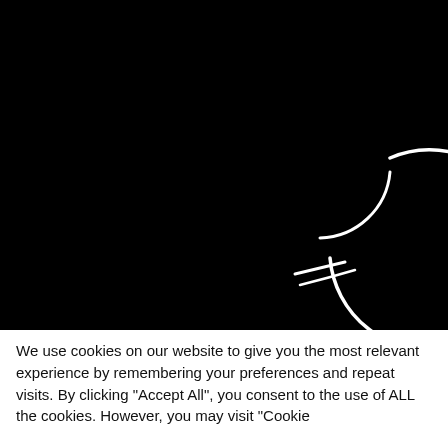[Figure (other): A black background with a white loading spinner arc (partial circle with two overlapping curved lines forming a loading indicator), positioned in the lower-right-center area of the black field.]
We use cookies on our website to give you the most relevant experience by remembering your preferences and repeat visits. By clicking "Accept All", you consent to the use of ALL the cookies. However, you may visit "Cookie